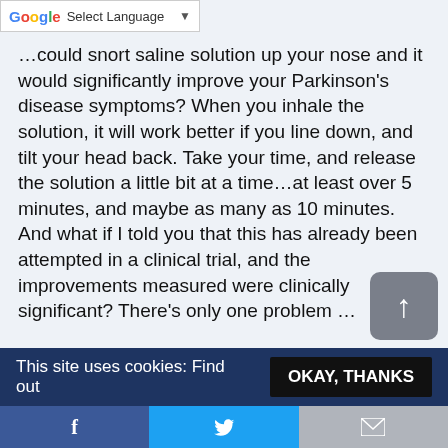[Figure (other): Google Translate Select Language dropdown bar]
...could snort saline solution up your nose and it would significantly improve your Parkinson's disease symptoms? When you inhale the solution, it will work better if you line down, and tilt your head back. Take your time, and release the solution a little bit at a time...at least over 5 minutes, and maybe as many as 10 minutes. And what if I told you that this has already been attempted in a clinical trial, and the improvements measured were clinically significant? There's only one problem ...
[Figure (other): Facebook and Twitter social share buttons]
[Figure (other): Scroll to top button with upward arrow]
This site uses cookies: Find out
OKAY, THANKS
[Figure (other): Bottom share bar with Facebook, Twitter, and email icons]